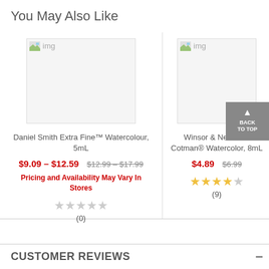You May Also Like
Daniel Smith Extra Fine™ Watercolour, 5mL
$9.09 - $12.59  $12.99 - $17.99
Pricing and Availability May Vary In Stores
(0)
[Figure (illustration): Product image placeholder for Daniel Smith Extra Fine Watercolour]
Winsor & Newton® Cotman® Watercolor, 8mL
$4.89  $6.99
(9)
[Figure (illustration): Product image placeholder for Winsor & Newton Cotman Watercolor]
CUSTOMER REVIEWS